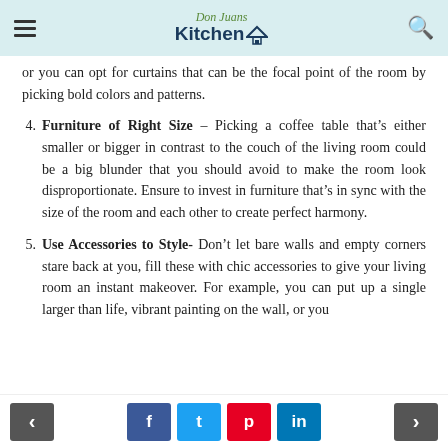Don Juans Kitchen
or you can opt for curtains that can be the focal point of the room by picking bold colors and patterns.
4. Furniture of Right Size – Picking a coffee table that's either smaller or bigger in contrast to the couch of the living room could be a big blunder that you should avoid to make the room look disproportionate. Ensure to invest in furniture that's in sync with the size of the room and each other to create perfect harmony.
5. Use Accessories to Style- Don't let bare walls and empty corners stare back at you, fill these with chic accessories to give your living room an instant makeover. For example, you can put up a single larger than life, vibrant painting on the wall, or you
< f t p in >